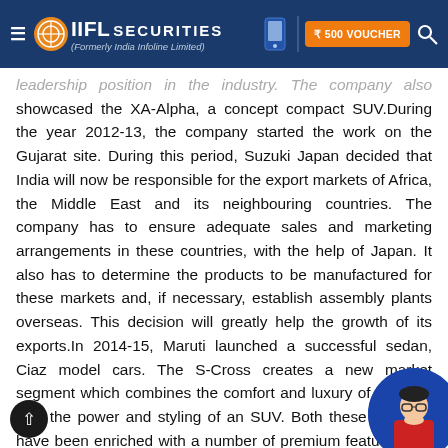IIFL Securities (Formerly India Infoline Limited)
leadership position in the industry. The company also showcased the XA-Alpha, a concept compact SUV.During the year 2012-13, the company started the work on the Gujarat site. During this period, Suzuki Japan decided that India will now be responsible for the export markets of Africa, the Middle East and its neighbouring countries. The company has to ensure adequate sales and marketing arrangements in these countries, with the help of Japan. It also has to determine the products to be manufactured for these markets and, if necessary, establish assembly plants overseas. This decision will greatly help the growth of its exports.In 2014-15, Maruti launched a successful sedan, Ciaz model cars. The S-Cross creates a new market segment which combines the comfort and luxury of a sedan with the power and styling of an SUV. Both these products have been enriched with a number of premium features and enhanced performance levels. In January this year, the Hon'ble Chief Minister of Gujarat, laid the foundation st...